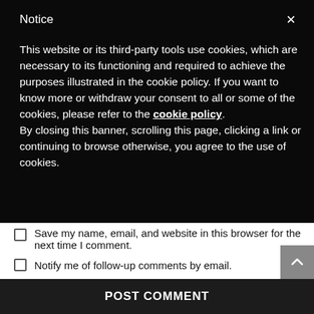Notice
This website or its third-party tools use cookies, which are necessary to its functioning and required to achieve the purposes illustrated in the cookie policy. If you want to know more or withdraw your consent to all or some of the cookies, please refer to the cookie policy.
By closing this banner, scrolling this page, clicking a link or continuing to browse otherwise, you agree to the use of cookies.
Save my name, email, and website in this browser for the next time I comment.
Notify me of follow-up comments by email.
Notify me of new posts by email.